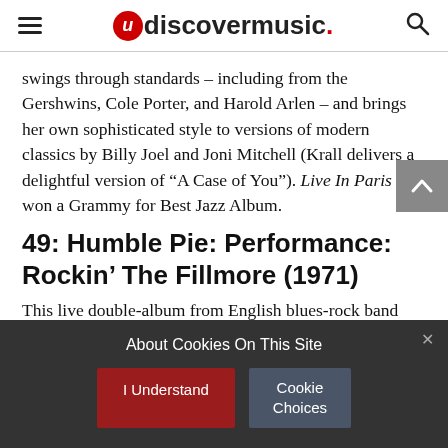udiscovermusic.
swings through standards – including from the Gershwins, Cole Porter, and Harold Arlen – and brings her own sophisticated style to versions of modern classics by Billy Joel and Joni Mitchell (Krall delivers a delightful version of “A Case of You”). Live In Paris won a Grammy for Best Jazz Album.
49: Humble Pie: Performance: Rockin’ The Fillmore (1971)
This live double-album from English blues-rock band Humble Pie was recorded over two days in
About Cookies On This Site
I Understand
Cookie Choices